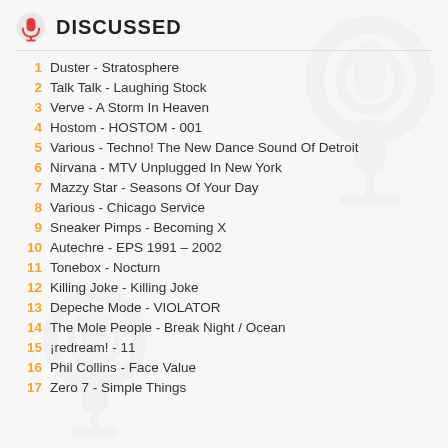DISCUSSED
1  Duster - Stratosphere
2  Talk Talk - Laughing Stock
3  Verve - A Storm In Heaven
4  Hostom - HOSTOM - 001
5  Various - Techno! The New Dance Sound Of Detroit
6  Nirvana - MTV Unplugged In New York
7  Mazzy Star - Seasons Of Your Day
8  Various - Chicago Service
9  Sneaker Pimps - Becoming X
10  Autechre - EPS 1991 – 2002
11  Tonebox - Nocturn
12  Killing Joke - Killing Joke
13  Depeche Mode - VIOLATOR
14  The Mole People - Break Night / Ocean
15  ¡redream! - 11
16  Phil Collins - Face Value
17  Zero 7 - Simple Things